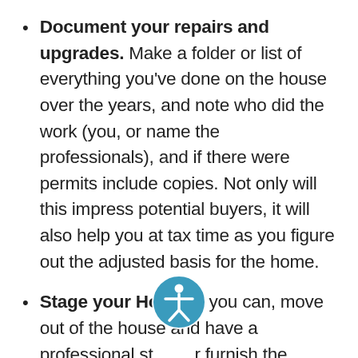Document your repairs and upgrades. Make a folder or list of everything you've done on the house over the years, and note who did the work (you, or name the professionals), and if there were permits include copies. Not only will this impress potential buyers, it will also help you at tax time as you figure out the adjusted basis for the home.
Stage your Home. If you can, move out of the house and have a professional stager furnish the house – he or she will accentuate the